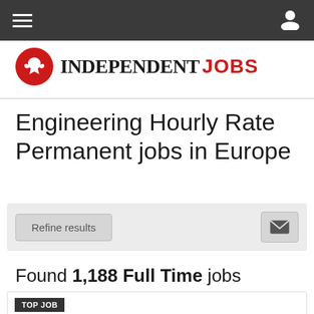Navigation bar with hamburger menu and user icon
[Figure (logo): Independent Jobs logo with red circle eagle icon, 'INDEPENDENT' in black serif and 'JOBS' in red sans-serif]
Engineering Hourly Rate Permanent jobs in Europe
Refine results | email icon button
Found 1,188 Full Time jobs
TOP JOB
Remote Solar PV Installer - Mission-Led